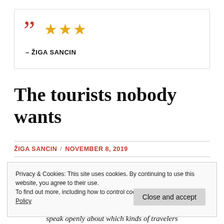“ ★★★ – ŽIGA SANCIN
The tourists nobody wants
ŽIGA SANCIN / NOVEMBER 8, 2019
Privacy & Cookies: This site uses cookies. By continuing to use this website, you agree to their use.
To find out more, including how to control cookies, see here: Privacy Policy
Close and accept
speak openly about which kinds of travelers